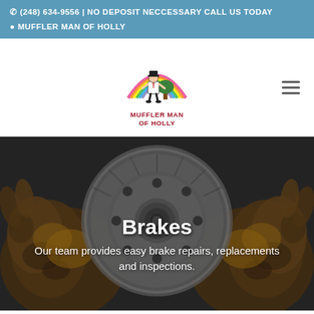☎ (248) 634-9556 | NO DEPOSIT NECCESSARY CALL US TODAY
⦿ MUFFLER MAN OF HOLLY
[Figure (logo): Muffler Man of Holly logo: cartoon figure in top hat and suit standing in front of a rainbow and tree, with red text 'MUFFLER MAN OF HOLLY' below]
Brakes
Our team provides easy brake repairs, replacements and inspections.